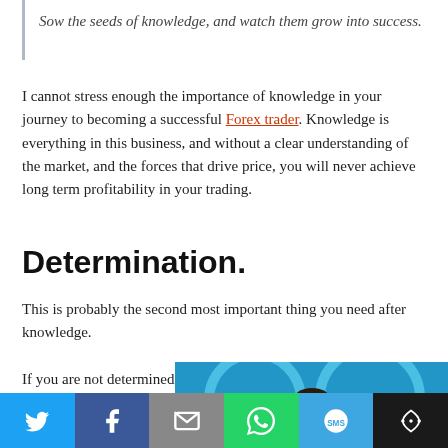Sow the seeds of knowledge, and watch them grow into success.
I cannot stress enough the importance of knowledge in your journey to becoming a successful Forex trader. Knowledge is everything in this business, and without a clear understanding of the market, and the forces that drive price, you will never achieve long term profitability in your trading.
Determination.
This is probably the second most important thing you need after knowledge.
If you are not determined to succeed then you will fail. If you are looking for a get rich
[Figure (photo): Athlete in red uniform shouting/celebrating in front of blue Olympic rings background]
Share buttons: Twitter, Facebook, Email, WhatsApp, SMS, More